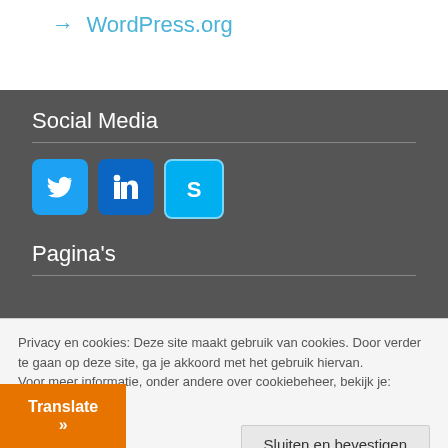→ WordPress.org
Social Media
[Figure (other): Three social media icon buttons: Twitter (bird icon), LinkedIn (in icon), Skype (S icon)]
Pagina's
Privacy en cookies: Deze site maakt gebruik van cookies. Door verder te gaan op deze site, ga je akkoord met het gebruik hiervan.
Voor meer informatie, onder andere over cookiebeheer, bekijk je: Cookiebeleid
Sluiten en bevestigen
Translate »